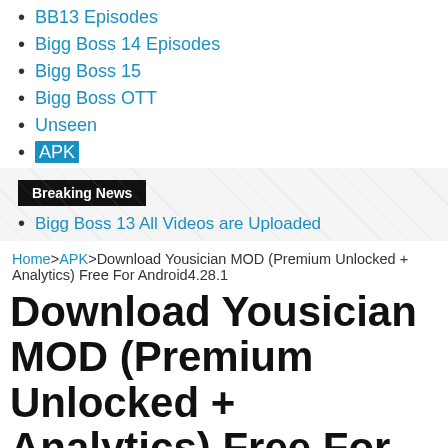BB13 Episodes
Bigg Boss 14 Episodes
Bigg Boss 15
Bigg Boss OTT
Unseen
APK
Breaking News
Bigg Boss 13 All Videos are Uploaded
Home>APK>Download Yousician MOD (Premium Unlocked + Analytics) Free For Android4.28.1
Download Yousician MOD (Premium Unlocked + Analytics) Free For